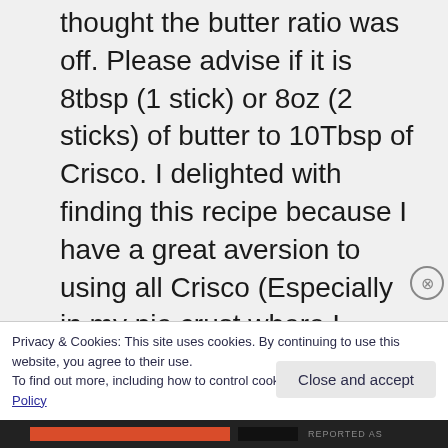thought the butter ratio was off. Please advise if it is 8tbsp (1 stick) or 8oz (2 sticks) of butter to 10Tbsp of Crisco. I delighted with finding this recipe because I have a great aversion to using all Crisco (Especially in my pie crust where I personally use half salted butter and haf Crisco rather
Privacy & Cookies: This site uses cookies. By continuing to use this website, you agree to their use.
To find out more, including how to control cookies, see here: Cookie Policy